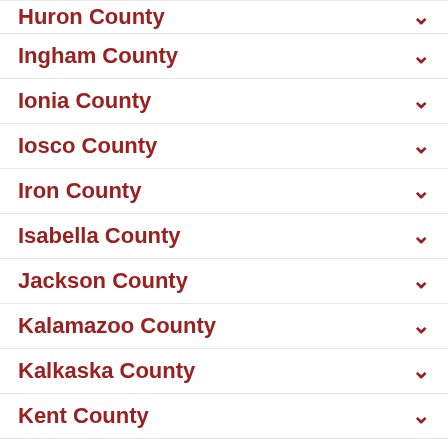Huron County
Ingham County
Ionia County
Iosco County
Iron County
Isabella County
Jackson County
Kalamazoo County
Kalkaska County
Kent County
Keweenaw County
Lake County
Lapeer County